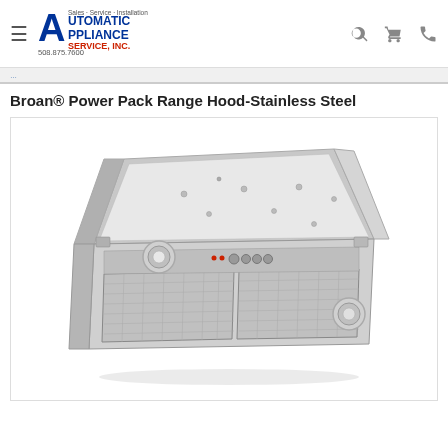Automatic Appliance Service Inc. — Sales · Service · Installation — 508.875.7600
Broan® Power Pack Range Hood-Stainless Steel
[Figure (photo): Product photo of Broan® Power Pack Range Hood in Stainless Steel, showing the built-in range hood insert with two round lights, mesh grease filters, and control knobs, viewed from a three-quarter angle.]